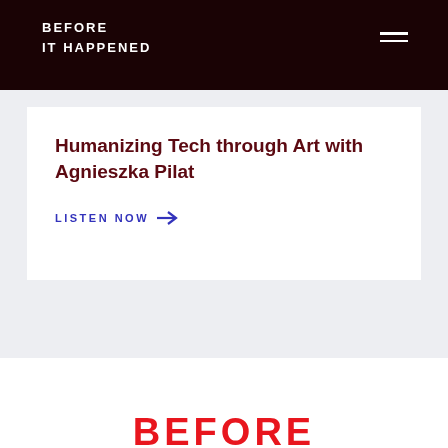BEFORE IT HAPPENED
Humanizing Tech through Art with Agnieszka Pilat
LISTEN NOW →
[Figure (logo): Partial red 'BEFORE' text logo appearing at bottom of page]